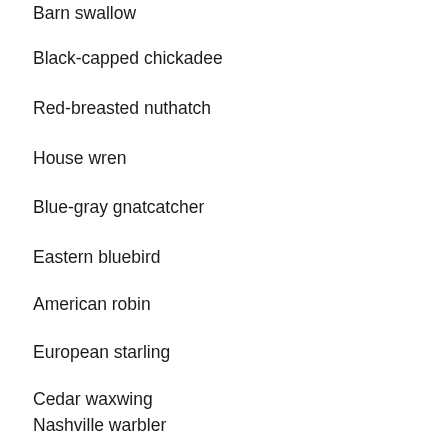Barn swallow
Black-capped chickadee
Red-breasted nuthatch
House wren
Blue-gray gnatcatcher
Eastern bluebird
American robin
European starling
Cedar waxwing
Nashville warbler